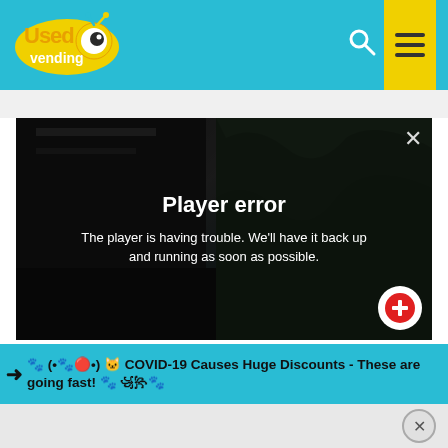[Figure (screenshot): UsedVending website header with teal/cyan background, logo on left and search icon plus yellow hamburger menu on right]
[Figure (screenshot): Video player showing 'Player error' message. Background shows a dark video still. Overlay reads: 'Player error' and 'The player is having trouble. We'll have it back up and running as soon as possible.']
➜ 🐾 (•🐾🔴•) 🐱 COVID-19 Causes Huge Discounts - These are going fast! 🐾 ꧁꧂🐾
[Figure (screenshot): Close button (X in circle) at bottom right of page]